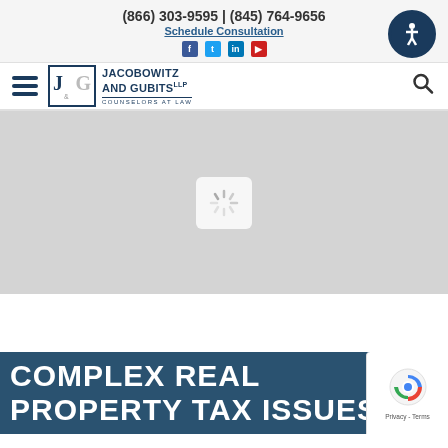(866) 303-9595 | (845) 764-9656
Schedule Consultation
[Figure (logo): Jacobowitz and Gubits LLP law firm logo with navigation bar and hamburger menu]
[Figure (photo): Gray hero image area with loading spinner icon]
COMPLEX REAL PROPERTY TAX ISSUES